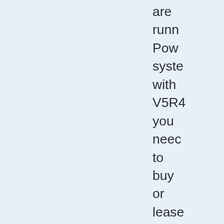are running PowerSystems with V5R4 you need to buy or lease new Power hardware on which to run v7.2 or v7.3 (you won't believe